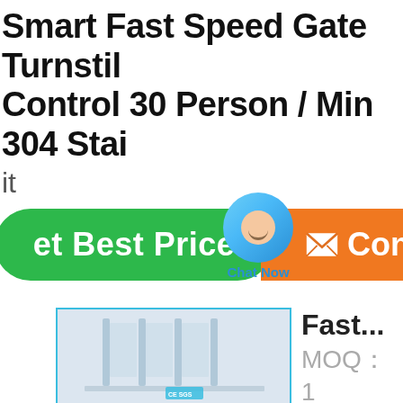Smart Fast Speed Gate Turnstile Control 30 Person / Min 304 Stainless Steel it
[Figure (screenshot): Green 'Get Best Price' button, chat bubble widget with 'Chat Now' label, and orange 'Contact' button]
[Figure (photo): Product image of fast speed gate turnstile with CE and SGS certification logos]
Fast...
MOQ： 1 unit